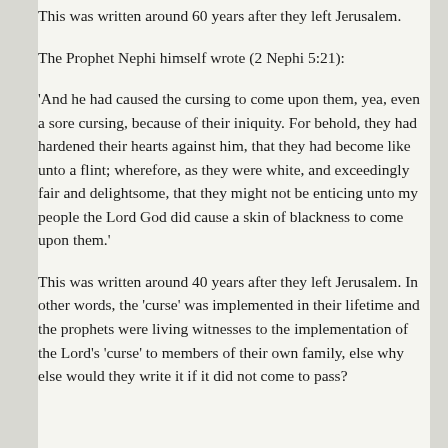This was written around 60 years after they left Jerusalem.
The Prophet Nephi himself wrote (2 Nephi 5:21):
'And he had caused the cursing to come upon them, yea, even a sore cursing, because of their iniquity. For behold, they had hardened their hearts against him, that they had become like unto a flint; wherefore, as they were white, and exceedingly fair and delightsome, that they might not be enticing unto my people the Lord God did cause a skin of blackness to come upon them.'
This was written around 40 years after they left Jerusalem. In other words, the 'curse' was implemented in their lifetime and the prophets were living witnesses to the implementation of the Lord's 'curse' to members of their own family, else why else would they write it if it did not come to pass?